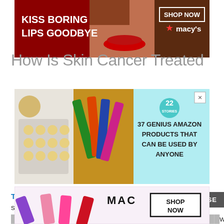[Figure (screenshot): Macy's advertisement banner: dark red background with woman's face and red lips, text 'KISS BORING LIPS GOODBYE', 'SHOP NOW' button, Macy's star logo]
How Is Skin Cancer Treated
[Figure (screenshot): Advertisement: light blue background with baking cookies image on left, lip products image in center, '22 STORIES' badge, text '37 GENIUS AMAZON PRODUCTS THAT CAN BE USED BY ANYONE', close X button]
Treatment for skin cancer depends on the size and severity of the [... wing:]
[Figure (screenshot): MAC cosmetics advertisement at bottom: purple, pink, and red lipsticks on left, MAC logo and SHOP NOW button on right, CLOSE button overlay]